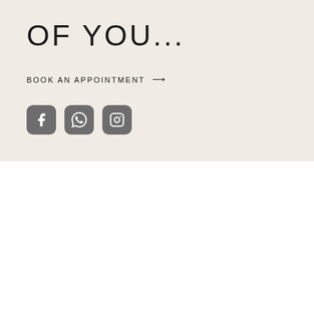OF YOU...
BOOK AN APPOINTMENT →
[Figure (other): Three social media icon buttons (Facebook, WhatsApp, Instagram) with dark rounded square backgrounds]